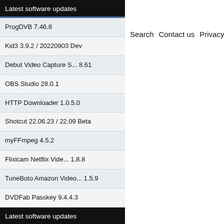Latest software updates
ProgDVB 7.46.8
Kid3 3.9.2 / 20220903 Dev
Debut Video Capture S... 8.61
OBS Studio 28.0.1
HTTP Downloader 1.0.5.0
Shotcut 22.06.23 / 22.09 Beta
myFFmpeg 4.5.2
Flixicam Netflix Vide... 1.8.8
TuneBoto Amazon Video... 1.5.9
DVDFab Passkey 9.4.4.3
Latest software updates
BluffTitler 15.8.1.9
Universal Media Serve... 11.4.0 / 11.4.1 Patreon
dBpowerAMP 2022-09-02
Search   Contact us   Privacy